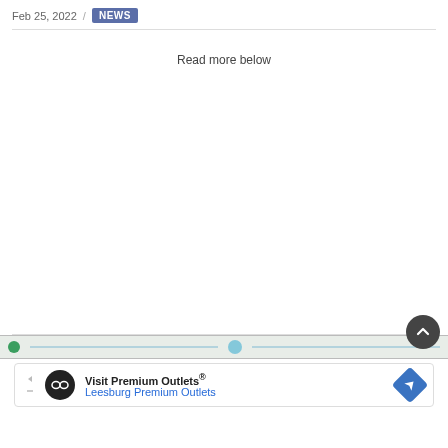Feb 25, 2022 / NEWS
Read more below
[Figure (screenshot): Partial map strip showing green dot and blue road lines]
[Figure (screenshot): Advertisement banner: Visit Premium Outlets® Leesburg Premium Outlets with logo and navigation icon]